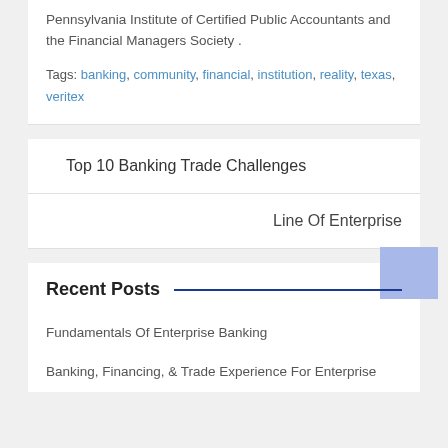Pennsylvania Institute of Certified Public Accountants and the Financial Managers Society .
Tags: banking, community, financial, institution, reality, texas, veritex
Top 10 Banking Trade Challenges
Line Of Enterprise
Recent Posts
Fundamentals Of Enterprise Banking
Banking, Financing, & Trade Experience For Enterprise